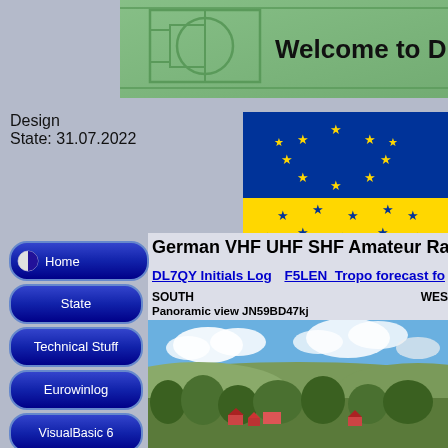[Figure (screenshot): Green header bar with soccer field line decorations and 'Welcome to DL7...' text]
Design
State: 31.07.2022
[Figure (illustration): EU flag overlaid with Ukrainian flag colors (blue and yellow halves with gold stars)]
Visitors since May 2011 (online since 10.10.1999)
 46011
German VHF UHF SHF Amateur Radio ...
DL7QY Initials Log   F5LEN  Tropo forecast fo...
SOUTH
Panoramic view JN59BD47kj
WES...
[Figure (photo): Panoramic landscape photo showing green hills, trees, village rooftops and blue sky with clouds]
Home
State
Technical Stuff
Eurowinlog
VisualBasic 6